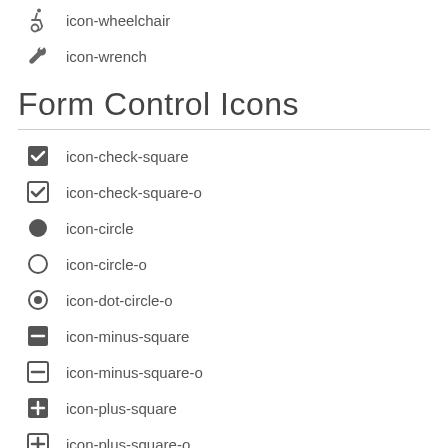icon-wheelchair
icon-wrench
Form Control Icons
icon-check-square
icon-check-square-o
icon-circle
icon-circle-o
icon-dot-circle-o
icon-minus-square
icon-minus-square-o
icon-plus-square
icon-plus-square-o
icon-square